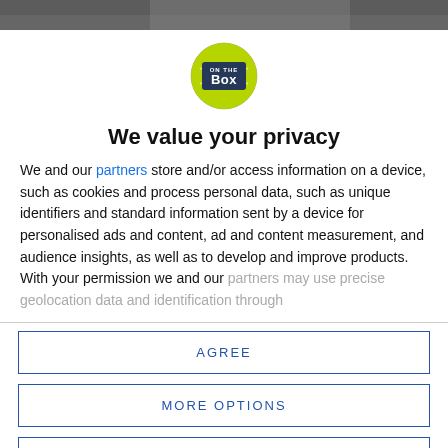[Figure (photo): Top banner image, partial view of a person]
[Figure (logo): On The Box logo — green circular tennis ball with ON THE BOX text in dark blue]
We value your privacy
We and our partners store and/or access information on a device, such as cookies and process personal data, such as unique identifiers and standard information sent by a device for personalised ads and content, ad and content measurement, and audience insights, as well as to develop and improve products. With your permission we and our partners may use precise geolocation data and identification through
AGREE
MORE OPTIONS
DISAGREE
[Figure (photo): Bottom banner image, partial view of a person]